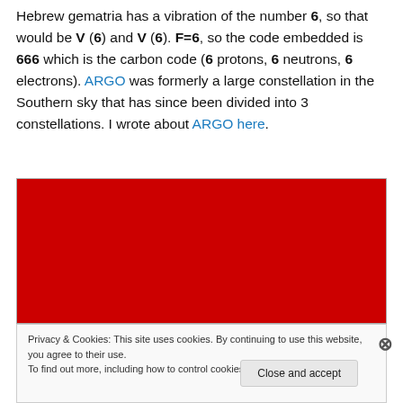Hebrew gematria has a vibration of the number 6, so that would be V (6) and V (6). F=6, so the code embedded is 666 which is the carbon code (6 protons, 6 neutrons, 6 electrons). ARGO was formerly a large constellation in the Southern sky that has since been divided into 3 constellations. I wrote about ARGO here.
[Figure (photo): A solid red/dark-red rectangular image block]
Privacy & Cookies: This site uses cookies. By continuing to use this website, you agree to their use.
To find out more, including how to control cookies, see here: Cookie Policy
Close and accept